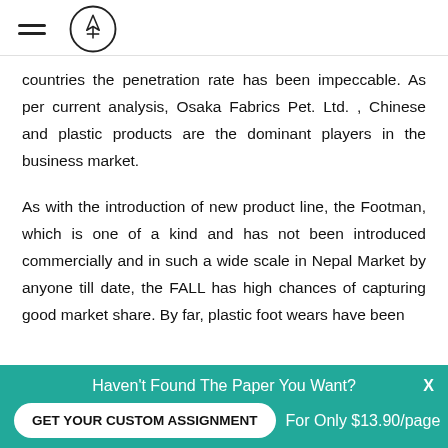[hamburger menu icon] [logo icon]
countries the penetration rate has been impeccable. As per current analysis, Osaka Fabrics Pet. Ltd. , Chinese and plastic products are the dominant players in the business market.
As with the introduction of new product line, the Footman, which is one of a kind and has not been introduced commercially and in such a wide scale in Nepal Market by anyone till date, the FALL has high chances of capturing good market share. By far, plastic foot wears have been
Haven't Found The Paper You Want? GET YOUR CUSTOM ASSIGNMENT For Only $13.90/page X